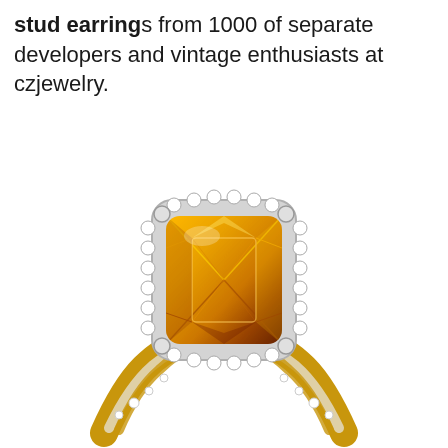stud earrings from 1000 of separate developers and vintage enthusiasts at czjewelry.
[Figure (photo): A citrine gemstone ring with a large cushion-cut orange citrine center stone surrounded by a halo of small round diamonds, set in a yellow gold and white gold twisted shank band with diamond accents.]